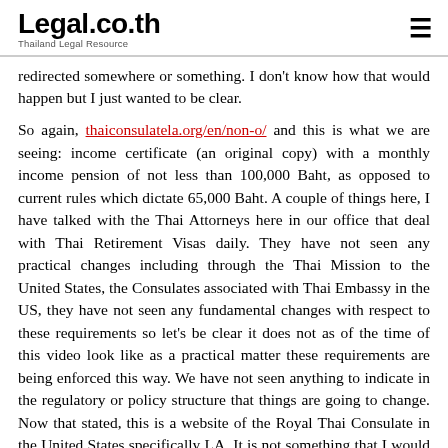Legal.co.th — Thailand Legal Resource
redirected somewhere or something. I don't know how that would happen but I just wanted to be clear.
So again, thaiconsulatela.org/en/non-o/ and this is what we are seeing: income certificate (an original copy) with a monthly income pension of not less than 100,000 Baht, as opposed to current rules which dictate 65,000 Baht. A couple of things here, I have talked with the Thai Attorneys here in our office that deal with Thai Retirement Visas daily. They have not seen any practical changes including through the Thai Mission to the United States, the Consulates associated with Thai Embassy in the US, they have not seen any fundamental changes with respect to these requirements so let's be clear it does not as of the time of this video look like as a practical matter these requirements are being enforced this way. We have not seen anything to indicate in the regulatory or policy structure that things are going to change. Now that stated, this is a website of the Royal Thai Consulate in the United States specifically LA. It is not something that I would dismiss just out of hand so what does this mean? I will be candid with you, I do